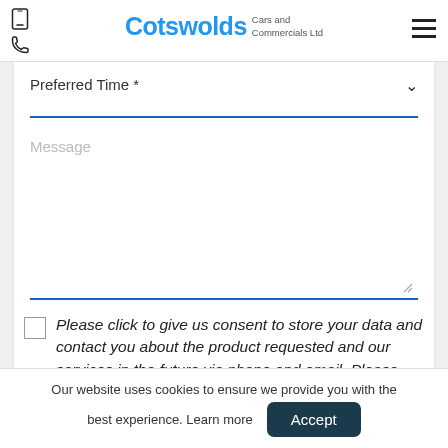Cotswolds Cars and Commercials Ltd
Preferred Time *
Message
Please click to give us consent to store your data and contact you about the product requested and our services in the future via phone and email. Please see our privacy policy here.
Our website uses cookies to ensure we provide you with the best experience. Learn more